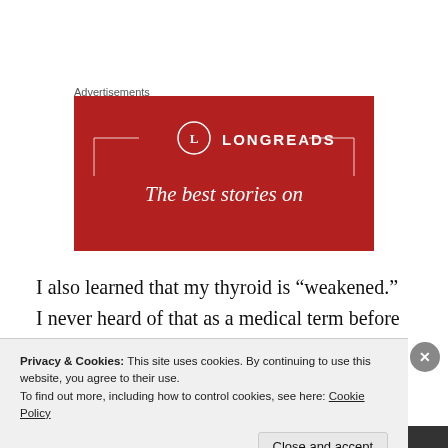Advertisements
[Figure (illustration): Longreads advertisement banner with red background, circular L logo, horizontal lines on each side, and tagline 'The best stories on']
I also learned that my thyroid is “weakened.” I never heard of that as a medical term before so I’m just going to use it as an excuse to take a nap for my afternoon
Privacy & Cookies: This site uses cookies. By continuing to use this website, you agree to their use.
To find out more, including how to control cookies, see here: Cookie Policy
Close and accept